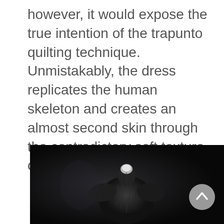however, it would expose the true intention of the trapunto quilting technique. Unmistakably, the dress replicates the human skeleton and creates an almost second skin through the contradictory soft texture of the protruding elements.
[Figure (photo): Black and white photograph of a dark garment/dress on a mannequin or figure against a dark background, showing the back/shoulder area with textured fabric detail.]